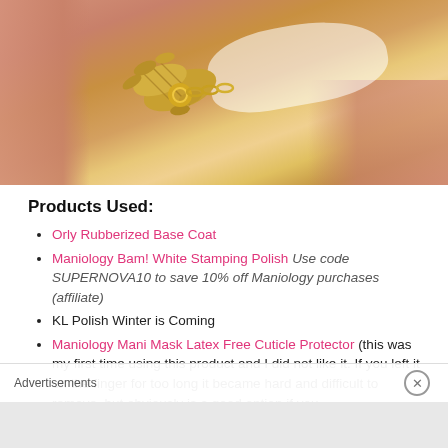[Figure (photo): Close-up macro photo of a fingernail with gold decorative nail art piece — a textured gold wheat or leaf charm held by a gold ring, on a light pink/peach nail background]
Products Used:
Orly Rubberized Base Coat
Maniology Bam! White Stamping Polish Use code SUPERNOVA10 to save 10% off Maniology purchases (affiliate)
KL Polish Winter is Coming
Maniology Mani Mask Latex Free Cuticle Protector (this was my first time using this product and I did not like it. If you left it on the finger for too long it became hard and difficult to remove, but obviously is a good option if you
Advertisements